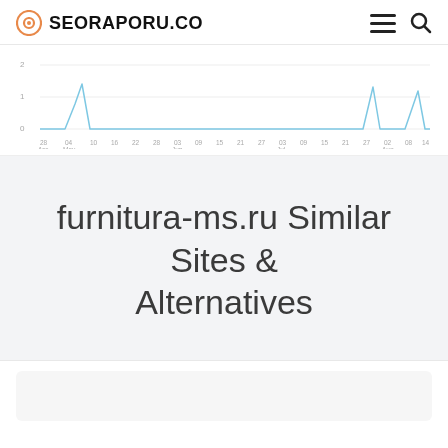SEORAPORU.CO
[Figure (line-chart): Line chart showing traffic from late April to late August with a few spikes near 2 and mostly near 0]
furnitura-ms.ru Similar Sites & Alternatives